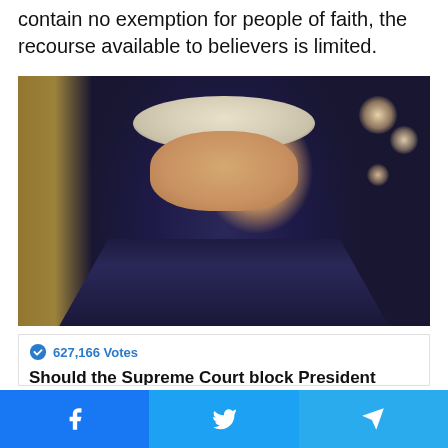contain no exemption for people of faith, the recourse available to believers is limited.
[Figure (photo): Photo of President Biden in a dark navy suit and tie, speaking, with a blurred golden curtain and bokeh lights in the background.]
627,166 Votes
Should the Supreme Court block President Biden from giving Social Security to illegal immigrants?